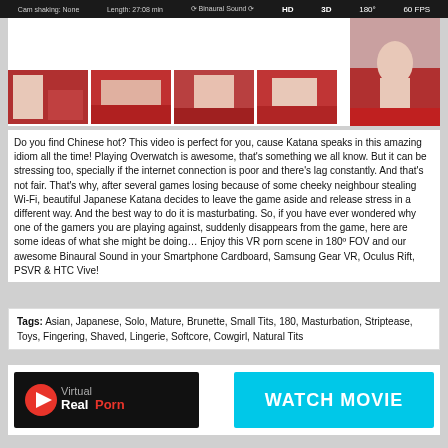Cam shaking: None  Length: 27:08 min  Binaural Sound  HD  3D  180°  60 FPS
[Figure (photo): Thumbnail images of a VR video scene, including one large image and four smaller preview images]
Do you find Chinese hot? This video is perfect for you, cause Katana speaks in this amazing idiom all the time! Playing Overwatch is awesome, that's something we all know. But it can be stressing too, specially if the internet connection is poor and there's lag constantly. And that's not fair. That's why, after several games losing because of some cheeky neighbour stealing Wi-Fi, beautiful Japanese Katana decides to leave the game aside and release stress in a different way. And the best way to do it is masturbating. So, if you have ever wondered why one of the gamers you are playing against, suddenly disappears from the game, here are some ideas of what she might be doing… Enjoy this VR porn scene in 180º FOV and our awesome Binaural Sound in your Smartphone Cardboard, Samsung Gear VR, Oculus Rift, PSVR & HTC Vive!
Tags: Asian, Japanese, Solo, Mature, Brunette, Small Tits, 180, Masturbation, Striptease, Toys, Fingering, Shaved, Lingerie, Softcore, Cowgirl, Natural Tits
[Figure (logo): VirtualRealPorn logo on black background]
[Figure (other): WATCH MOVIE button in cyan/turquoise color]